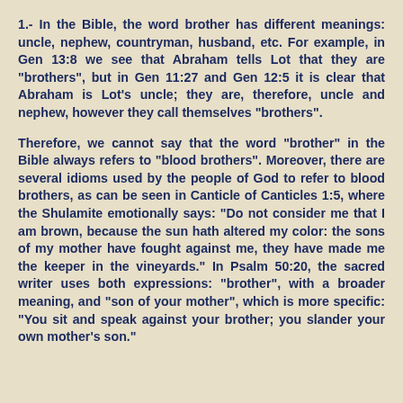1.- In the Bible, the word brother has different meanings: uncle, nephew, countryman, husband, etc. For example, in Gen 13:8 we see that Abraham tells Lot that they are "brothers", but in Gen 11:27 and Gen 12:5 it is clear that Abraham is Lot's uncle; they are, therefore, uncle and nephew, however they call themselves "brothers".
Therefore, we cannot say that the word "brother" in the Bible always refers to "blood brothers". Moreover, there are several idioms used by the people of God to refer to blood brothers, as can be seen in Canticle of Canticles 1:5, where the Shulamite emotionally says: "Do not consider me that I am brown, because the sun hath altered my color: the sons of my mother have fought against me, they have made me the keeper in the vineyards." In Psalm 50:20, the sacred writer uses both expressions: "brother", with a broader meaning, and "son of your mother", which is more specific: "You sit and speak against your brother; you slander your own mother's son."